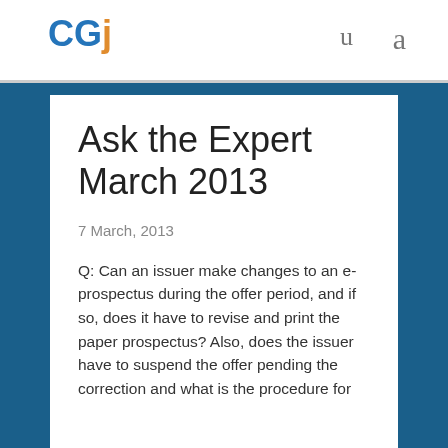CGj  U  a
Ask the Expert March 2013
7 March, 2013
Q: Can an issuer make changes to an e-prospectus during the offer period, and if so, does it have to revise and print the paper prospectus? Also, does the issuer have to suspend the offer pending the correction and what is the procedure for the correction?